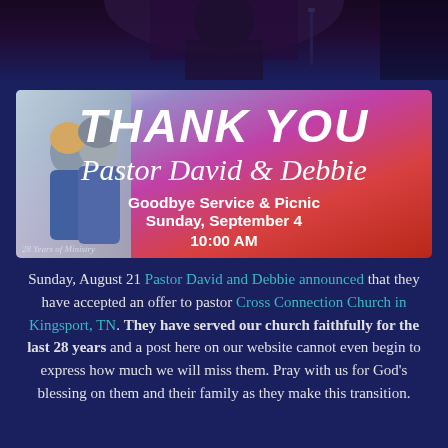[Figure (photo): Dark photo showing a person/silhouette at the top of the page with dark purple/blue background]
[Figure (illustration): Thank You banner for Pastor David & Debbie showing Goodbye Service & Picnic, Sunday September 4, 10:00 AM, 28 Years of Ministry, with a couple photo on the left and gradient red/purple/blue background]
Sunday, August 21 Pastor David and Debbie announced that they have accepted an offer to pastor Cross Connection Church in Kingsport, TN. They have served our church faithfully for the last 28 years and a post here on our website cannot even begin to express how much we will miss them. Pray with us for God's blessing on them and their family as they make this transition.